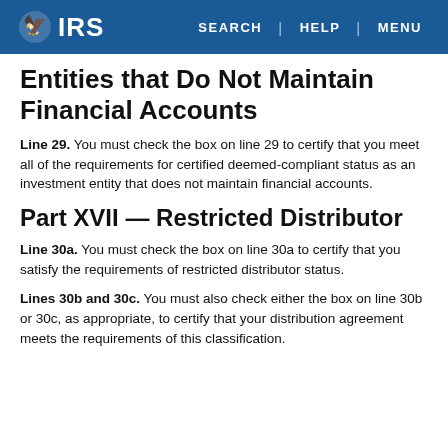IRS | SEARCH | HELP | MENU
Entities that Do Not Maintain Financial Accounts
Line 29. You must check the box on line 29 to certify that you meet all of the requirements for certified deemed-compliant status as an investment entity that does not maintain financial accounts.
Part XVII — Restricted Distributor
Line 30a. You must check the box on line 30a to certify that you satisfy the requirements of restricted distributor status.
Lines 30b and 30c. You must also check either the box on line 30b or 30c, as appropriate, to certify that your distribution agreement meets the requirements of this classification.